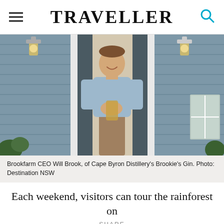TRAVELLER
[Figure (photo): Man in light blue shirt standing in doorway of a gray clapboard building, holding a bottle. Wall lanterns visible on either side.]
Brookfarm CEO Will Brook, of Cape Byron Distillery's Brookie's Gin. Photo: Destination NSW
Each weekend, visitors can tour the rainforest on
SHARE
[Figure (infographic): Social share buttons: Facebook (blue f), Twitter (teal bird), Email (gray envelope), Pinterest (red P), Google+ (red g+)]